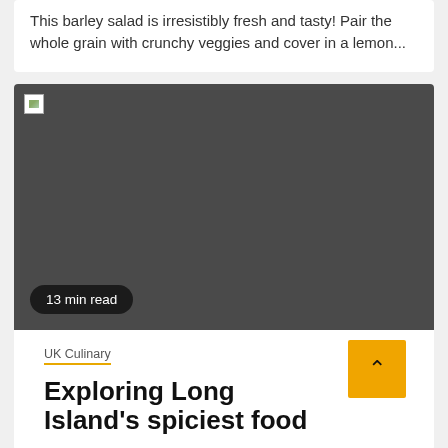This barley salad is irresistibly fresh and tasty! Pair the whole grain with crunchy veggies and cover in a lemon...
[Figure (photo): A large dark/broken image placeholder with a '13 min read' badge at the bottom left.]
13 min read
UK Culinary
Exploring Long Island's spiciest food